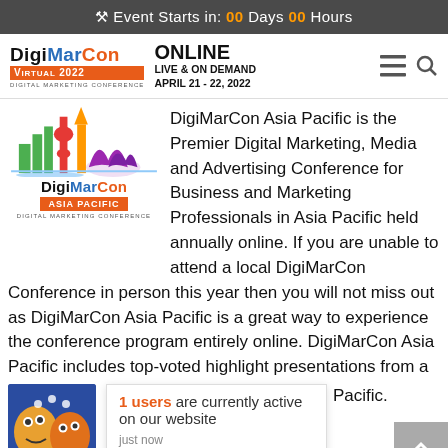Event Starts in: 00 Days 00 Hours
[Figure (logo): DigiMarCon Virtual 2022 Digital Marketing Conference logo with navigation icons]
[Figure (logo): DigiMarCon Asia Pacific Digital Marketing Conference logo with city skyline]
DigiMarCon Asia Pacific is the Premier Digital Marketing, Media and Advertising Conference for Business and Marketing Professionals in Asia Pacific held annually online. If you are unable to attend a local DigiMarCon Conference in person this year then you will not miss out as DigiMarCon Asia Pacific is a great way to experience the conference program entirely online. DigiMarCon Asia Pacific includes top-voted highlight presentations from a … Pacific.
[Figure (illustration): Small blue square logo with cartoon faces]
1 users are currently active on our website
just now
nagement, usability / design, mobile marketing & retargeting,